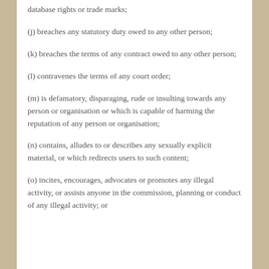database rights or trade marks;
(j) breaches any statutory duty owed to any other person;
(k) breaches the terms of any contract owed to any other person;
(l) contravenes the terms of any court order;
(m) is defamatory, disparaging, rude or insulting towards any person or organisation or which is capable of harming the reputation of any person or organisation;
(n) contains, alludes to or describes any sexually explicit material, or which redirects users to such content;
(o) incites, encourages, advocates or promotes any illegal activity, or assists anyone in the commission, planning or conduct of any illegal activity; or